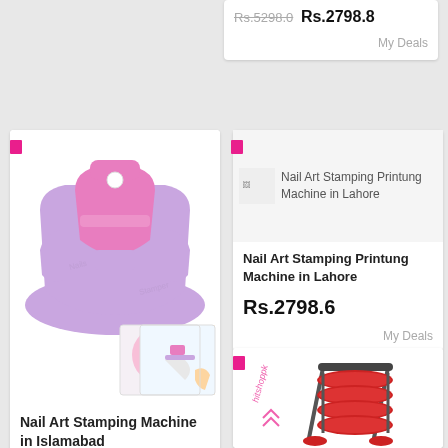Rs.5298.0  Rs.2798.8
My Deals
[Figure (photo): Nail art stamping machine product photos - pink and purple device with example nail art images]
Nail Art Stamping Machine in Islamabad
Rs.2798.6
My Deals
[Figure (photo): Nail Art Stamping Printung Machine product thumbnail image]
Nail Art Stamping Printung Machine in Lahore
Nail Art Stamping Printung Machine in Lahore
Rs.2798.6
My Deals
[Figure (photo): Red exercise/ab workout machine with rollers - hitshoppk branded]